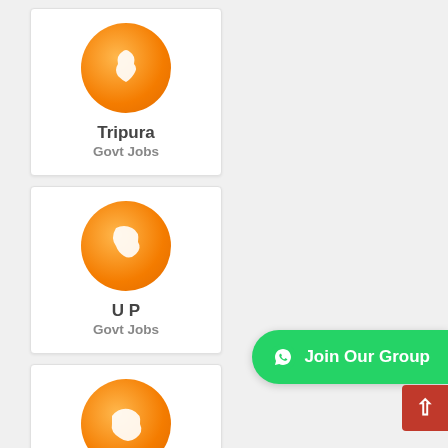[Figure (infographic): Grid of state govt job cards: Tripura, UP, Uttarakhand, West Bengal each with an orange circle icon and label]
Jobs By City
Ahmedabad Jobs
Bangalore Jobs
Bhopal Jobs